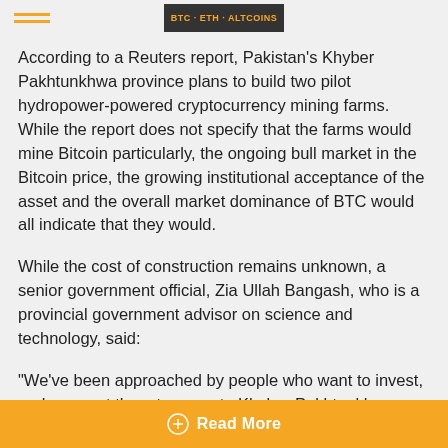According to a Reuters report, Pakistan's Khyber Pakhtunkhwa province plans to build two pilot hydropower-powered cryptocurrency mining farms. While the report does not specify that the farms would mine Bitcoin particularly, the ongoing bull market in the Bitcoin price, the growing institutional acceptance of the asset and the overall market dominance of BTC would all indicate that they would.
While the cost of construction remains unknown, a senior government official, Zia Ullah Bangash, who is a provincial government advisor on science and technology, said:
"We've been approached by people who want to invest, and we want them to come to Khyber Pakhtunkhwa, make some money, and for the province to make money from it as well."